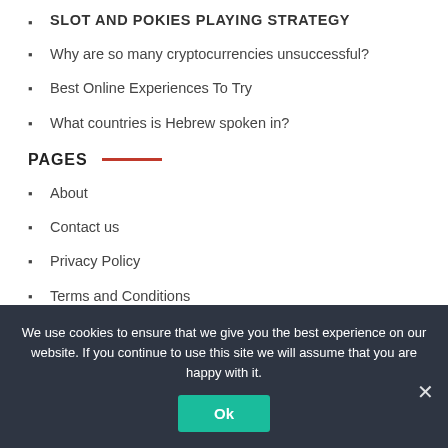SLOT AND POKIES PLAYING STRATEGY
Why are so many cryptocurrencies unsuccessful?
Best Online Experiences To Try
What countries is Hebrew spoken in?
PAGES
About
Contact us
Privacy Policy
Terms and Conditions
We use cookies to ensure that we give you the best experience on our website. If you continue to use this site we will assume that you are happy with it.
Ok